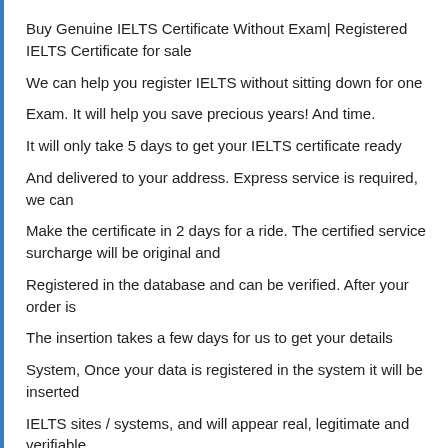Buy Genuine IELTS Certificate Without Exam| Registered IELTS Certificate for sale
We can help you register IELTS without sitting down for one
Exam. It will help you save precious years! And time.
It will only take 5 days to get your IELTS certificate ready
And delivered to your address. Express service is required, we can
Make the certificate in 2 days for a ride. The certified service surcharge will be original and
Registered in the database and can be verified. After your order is
The insertion takes a few days for us to get your details
System, Once your data is registered in the system it will be inserted
IELTS sites / systems, and will appear real, legitimate and verifiable